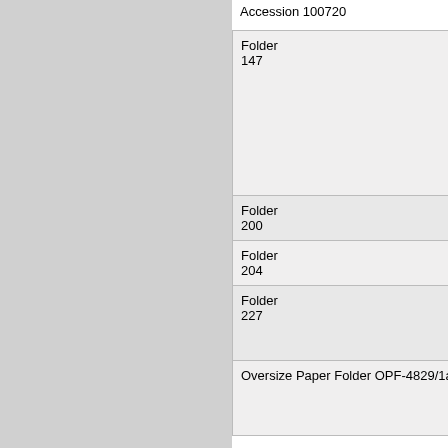Accession 100720
| Location | Content |
| --- | --- |
| Folder 147 | New York Times, 6 April 1997; Who's Who In Music, 1997; clippings and duplications, 1941-1958 |
| Folder 200 | New Focus Quarterly |
| Folder 204 | Printed material |
| Folder 227 | Poster: Stravinsky Concert, UNC, 1971 |
| Oversize Paper Folder OPF-4829/1a | Poster: Stravinsky Concert, UNC, 1971 |